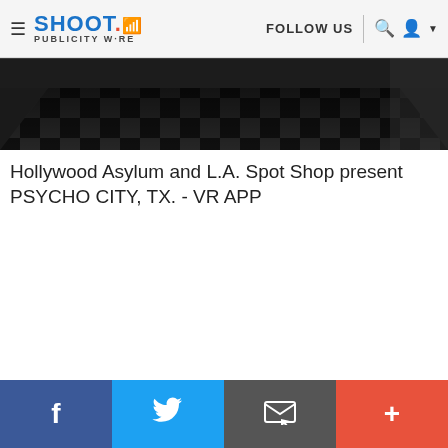SHOOT PUBLICITY WIRE | FOLLOW US
[Figure (photo): Dark interior photo showing a black and white checkered floor in what appears to be a room, viewed from above at an angle. The image is cropped showing mostly the floor.]
Hollywood Asylum and L.A. Spot Shop present PSYCHO CITY, TX. - VR APP
[Figure (infographic): Footer social sharing bar with four colored buttons: Facebook (dark blue), Twitter (light blue), Email/envelope (dark gray), and Plus/share (orange-red).]